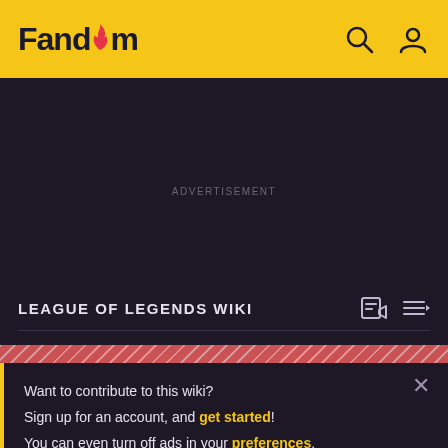Fandom
ADVERTISEMENT
LEAGUE OF LEGENDS WIKI
Shurima
Want to contribute to this wiki? Sign up for an account, and get started! You can even turn off ads in your preferences.